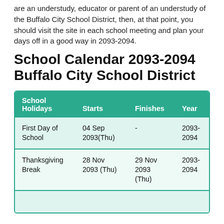are an understudy, educator or parent of an understudy of the Buffalo City School District, then, at that point, you should visit the site in each school meeting and plan your days off in a good way in 2093-2094.
School Calendar 2093-2094 Buffalo City School District
| School Holidays | Starts | Finishes | Year |
| --- | --- | --- | --- |
| First Day of School | 04 Sep 2093(Thu) | - | 2093-2094 |
| Thanksgiving Break | 28 Nov 2093 (Thu) | 29 Nov 2093 (Thu) | 2093-2094 |